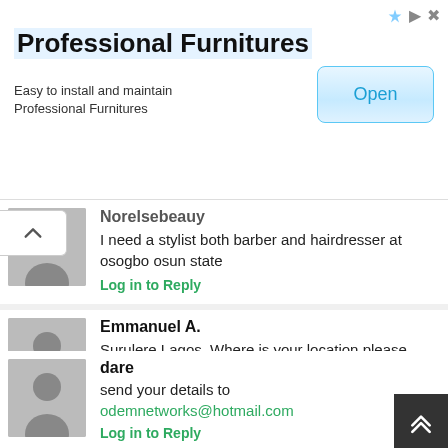[Figure (screenshot): Advertisement banner for Professional Furnitures with Open button]
Norelsebeauy
I need a stylist both barber and hairdresser at osogbo osun state
Log in to Reply
Emmanuel A.
Surulere Lagos. Where is your location please
Log in to Reply
dare
send your details to odemnetworks@hotmail.com
Log in to Reply